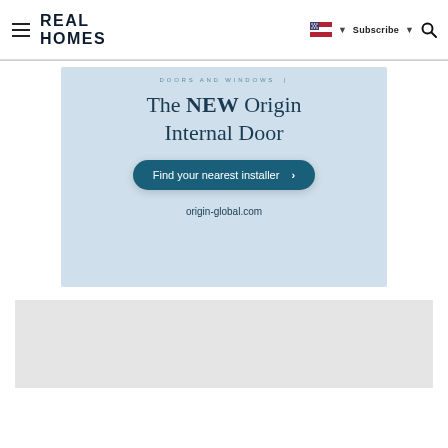Real Homes | Subscribe | Flag | Search
[Figure (infographic): Advertisement banner for Origin Internal Door. Light blue background. Text: 'DOORS AND WINDOWS' eyebrow, 'The NEW Origin Internal Door', button 'Find your nearest installer >', 'origin-global.com']
[Figure (other): Gray placeholder box for additional content]